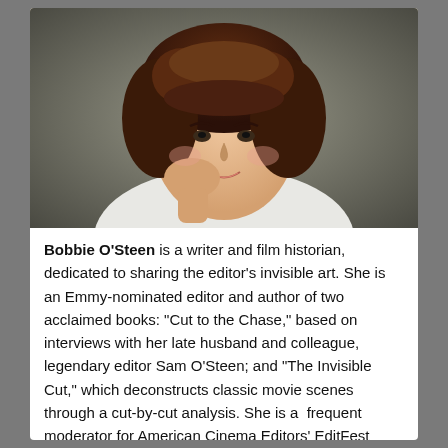[Figure (photo): Headshot photograph of Bobbie O'Steen, a woman with dark curly hair, resting her chin on her hand, smiling, against a dark background.]
Bobbie O'Steen is a writer and film historian, dedicated to sharing the editor's invisible art. She is an Emmy-nominated editor and author of two acclaimed books: "Cut to the Chase," based on interviews with her late husband and colleague, legendary editor Sam O'Steen; and "The Invisible Cut," which deconstructs classic movie scenes through a cut-by-cut analysis. She is a frequent moderator for American Cinema Editors' EditFest panels and host of her own "Inside the Cutting